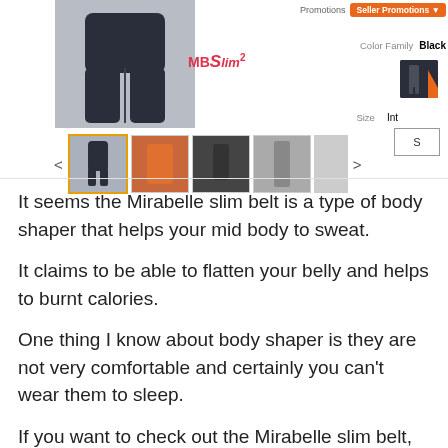[Figure (screenshot): Product listing screenshot showing a black body shaper/slim belt with MB Slim² branding, thumbnail images, color family Black swatch, Size Int S selector, and Promotions/Seller Promotions button]
It seems the Mirabelle slim belt is a type of body shaper that helps your mid body to sweat.
It claims to be able to flatten your belly and helps to burnt calories.
One thing I know about body shaper is they are not very comfortable and certainly you can't wear them to sleep.
If you want to check out the Mirabelle slim belt,